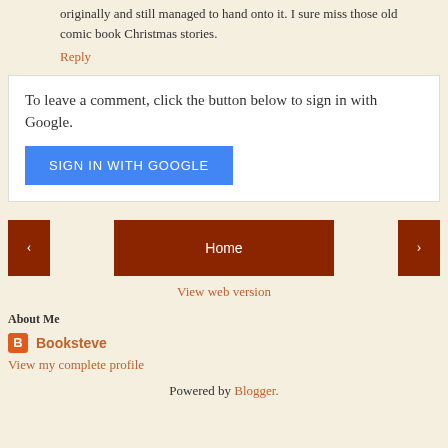originally and still managed to hand onto it. I sure miss those old comic book Christmas stories.
Reply
To leave a comment, click the button below to sign in with Google.
SIGN IN WITH GOOGLE
[Figure (infographic): Navigation buttons: left arrow, Home button, right arrow]
View web version
About Me
Booksteve
View my complete profile
Powered by Blogger.